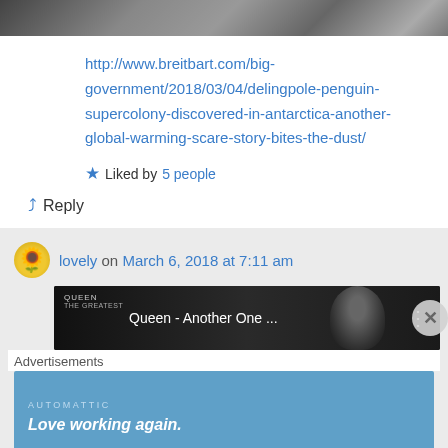[Figure (photo): Partial black and white photo at top of page, cropped showing people]
http://www.breitbart.com/big-government/2018/03/04/delingpole-penguin-supercolony-discovered-in-antarctica-another-global-warming-scare-story-bites-the-dust/
Liked by 5 people
Reply
lovely on March 6, 2018 at 7:11 am
[Figure (screenshot): Video thumbnail showing Queen - Another One ... with Queen logo on black background]
Advertisements
[Figure (infographic): Automattic advertisement banner in blue: Love working again.]